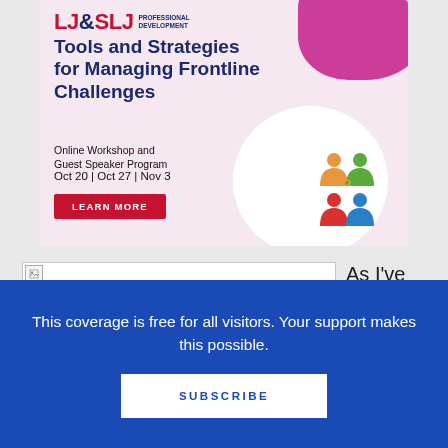[Figure (illustration): LJ&SLJ Professional Development advertisement banner for 'Tools and Strategies for Managing Frontline Challenges' online workshop and guest speaker program. Dates: Oct 20, Oct 27, Nov 3. Features a colorful people icon graphic and a red 'LEARN MORE' button. Pink and white blob shapes decorate the background.]
[Figure (photo): Broken/unloaded image placeholder on left side, next to partial text 'As I've mentioned']
As I've mentioned
This coverage is free for all visitors. Your support makes this possible.
SUBSCRIBE